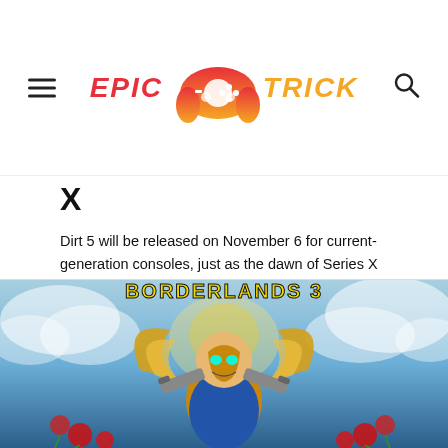EPIC TRICK (gaming website logo with gamepad icon)
X
Dirt 5 will be released on November 6 for current-generation consoles, just as the dawn of Series X and Series S approaches. However, the title takes advantage of the opportunity and becomes part of Microsoft's line-up, offering a free upgrade of the title to […]
[Figure (photo): Borderlands 3 game cover art showing a masked character with golden wings, guns and roses, on a heavenly blue background with clouds]